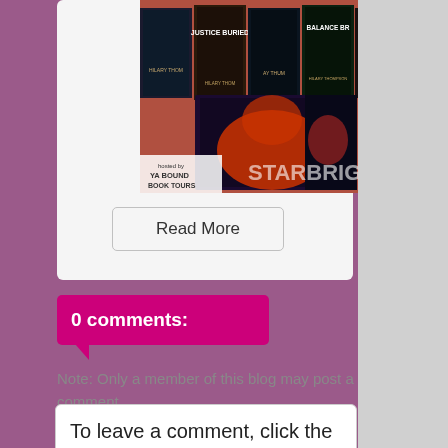[Figure (photo): Book cover collage for YA book series including titles 'Justice Buried' and 'Balance Bright' by Hilary Thompson, hosted by YA Bound Book Tours, with 'STARBRIGHT' series branding]
Read More
0 comments:
Note: Only a member of this blog may post a comment.
To leave a comment, click the button below to sign in with Google.
SIGN IN WITH GOOGLE